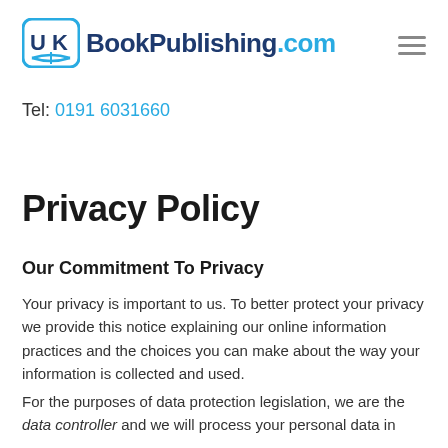[Figure (logo): UKBookPublishing.com logo with open book icon in blue and text]
Tel: 0191 6031660
Privacy Policy
Our Commitment To Privacy
Your privacy is important to us. To better protect your privacy we provide this notice explaining our online information practices and the choices you can make about the way your information is collected and used.
For the purposes of data protection legislation, we are the data controller and we will process your personal data in